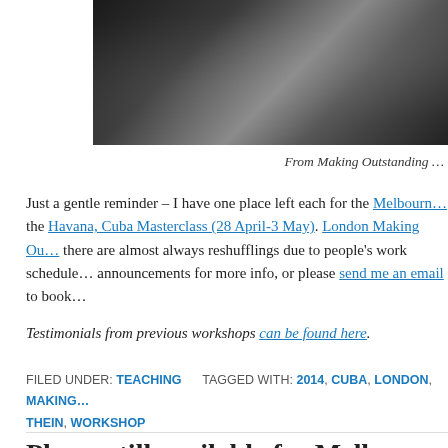[Figure (photo): Black and white photograph, partially cropped, showing a person or musical instrument in dark tones]
From Making Outstanding …
Just a gentle reminder – I have one place left each for the Melbourne … the Havana, Cuba Masterclass (28 April-3 May). London Making Out… there are almost always reshufflings due to people's work schedule… announcements for more info, or please send me an email to book…
Testimonials from previous workshops can be found here.
FILED UNDER: TEACHING   TAGGED WITH: 2014, CUBA, LONDON, MAKING… THEIN, WORKSHOP
Places still available for Melbo…